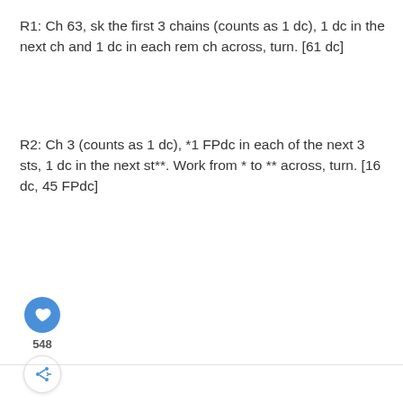R1: Ch 63, sk the first 3 chains (counts as 1 dc), 1 dc in the next ch and 1 dc in each rem ch across, turn. [61 dc]
R2: Ch 3 (counts as 1 dc), *1 FPdc in each of the next 3 sts, 1 dc in the next st**. Work from * to ** across, turn. [16 dc, 45 FPdc]
[Figure (other): Social interaction buttons: heart/like button (blue circle with heart icon), count 548, and share button (white circle with share icon)]
WHAT'S NEXT → 2021 Just Another Day...